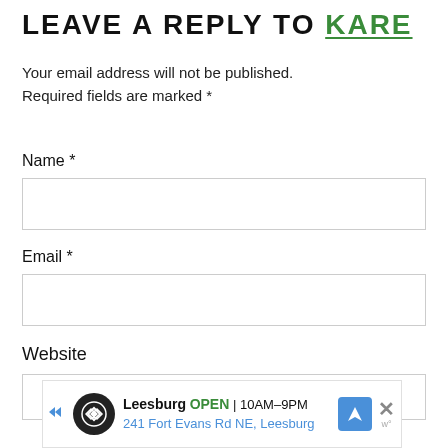LEAVE A REPLY TO KARE
Your email address will not be published. Required fields are marked *
Name *
Email *
Website
[Figure (other): Advertisement banner for a Leesburg location: OPEN 10AM-9PM, 241 Fort Evans Rd NE, Leesburg]